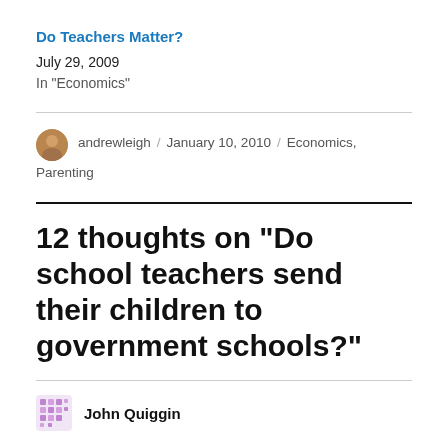Do Teachers Matter?
July 29, 2009
In "Economics"
andrewleigh / January 10, 2010 / Economics, Parenting
12 thoughts on “Do school teachers send their children to government schools?”
John Quiggin